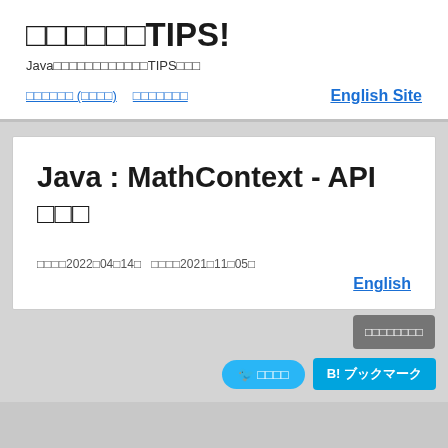○○○○○○TIPS!
Java○○○○○○○○○○○○TIPS○○○
○○○○○○ (○○○○)　○○○○○○○　English Site
Java : MathContext - API ○○○
○○○○2022○04○14○　○○○○2021○11○05○
English
○○○○○○○○　○ ○○○○　B! ブックマーク